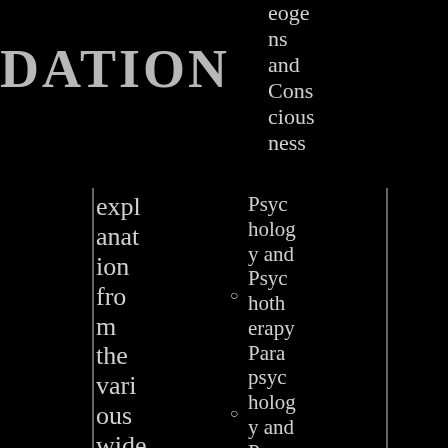DATION
explanation from the various widely differing the
eoge ns and Consciousness
Psychology and Psychotherapy
Parapsychology and Psychical Research arch